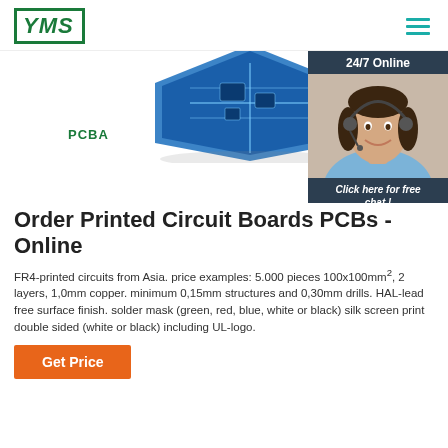[Figure (logo): YMS logo in green border with italic bold text]
[Figure (photo): Blue printed circuit board (PCB) shown from above at an angle]
PCBA
[Figure (photo): 24/7 Online chat widget showing a female customer service agent with headset, with 'Click here for free chat!' text and QUOTATION button]
Order Printed Circuit Boards PCBs - Online
FR4-printed circuits from Asia. price examples: 5.000 pieces 100x100mm², 2 layers, 1,0mm copper. minimum 0,15mm structures and 0,30mm drills. HAL-lead free surface finish. solder mask (green, red, blue, white or black) silk screen print double sided (white or black) including UL-logo.
Get Price